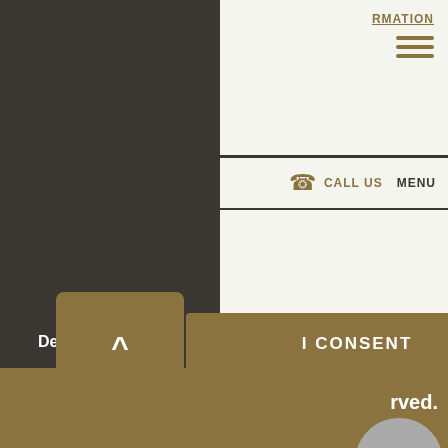RMATION
Cookies to measure visitor traffic and browsing behavior and share data with, or redirect users from, third-party websites to define personalized offers tailored to your interests.
Learn More
CALL US
MENU
ail
f0e1
Decline
I CONSENT
^
rved.